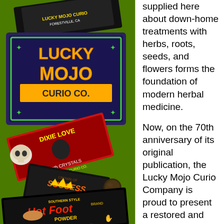[Figure (illustration): Left column showing Lucky Mojo Curio Co. brand products on a green background: various product boxes/labels including Lucky Mojo Curio Co. logo, Dixie Love Bath Crystals, Crown of Success Oil, Southern Style Hot Foot Powder, with a skull and other decorative elements.]
supplied here about down-home treatments with herbs, roots, seeds, and flowers forms the foundation of modern herbal medicine.
Now, on the 70th anniversary of its original publication, the Lucky Mojo Curio Company is proud to present a restored and revised edition of this essential text, newly edited by catherine yronwode and illustrated with the classic botanical art of F. Schuyler Mathews. Filled with historically